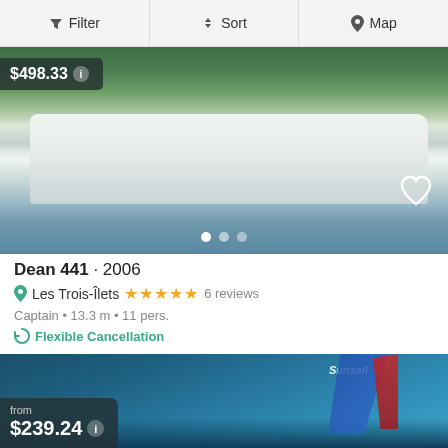Filter  Sort  Map
[Figure (photo): Catamaran boat (Dean 441) on water with green forested hills in background, price badge showing $498.33 with info icon, heart/favorite icon, and carousel dots at bottom]
Dean 441 · 2006
Les Trois-Îlets ★★★★★ 6 reviews
Captain • 13.3 m • 11 pers.
🔄 Flexible Cancellation
[Figure (photo): Sailboat with blue and red sail (Sunsail branded) on choppy blue water, with price badge showing 'from $239.24' with info icon]